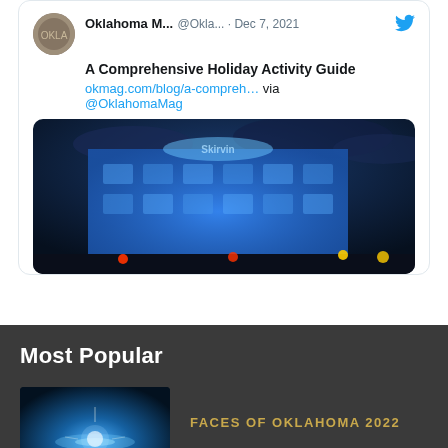Oklahoma M... @Okla... · Dec 7, 2021
A Comprehensive Holiday Activity Guide
okmag.com/blog/a-compreh… via @OklahomaMag
[Figure (photo): A building covered in blue Christmas lights at night, viewed from a low angle against a dark blue sky]
Most Popular
[Figure (photo): Dark blue underwater or water surface scene with a bright light source in the center]
FACES OF OKLAHOMA 2022